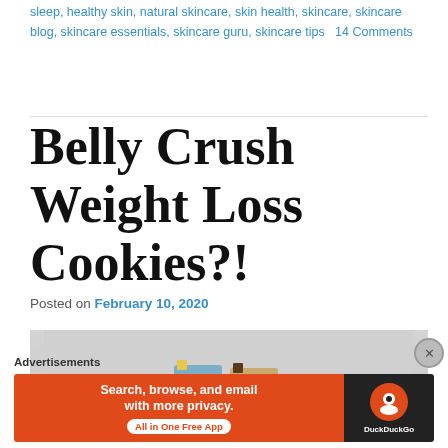sleep, healthy skin, natural skincare, skin health, skincare, skincare blog, skincare essentials, skincare guru, skincare tips   14 Comments
Belly Crush Weight Loss Cookies?!
Posted on February 10, 2020
[Figure (photo): Photo showing product boxes (blue and tan) with plant leaves and a flower, on a light gray background]
Advertisements
[Figure (screenshot): DuckDuckGo advertisement banner: 'Search, browse, and email with more privacy. All in One Free App' on orange background with DuckDuckGo logo on dark background]